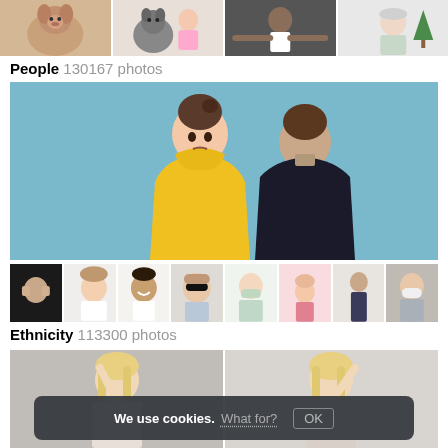[Figure (screenshot): Top row of four small thumbnail photos showing people and a dog/husky, a child, a person with arms spread, and an elderly woman near a Christmas tree]
People  130167 photos
[Figure (photo): Large photo on light blue background showing a woman in a yellow hoodie facing camera and a man in a dark suit with his back turned]
[Figure (photo): Strip of 8 small thumbnail photos showing various people including a person with hands on face, a woman in profile, a smiling man, a woman in sunglasses, a nurse with mask, a child in pink background, a man in dark clothes, and a person wearing a white mask]
Ethnicity  113300 photos
[Figure (photo): Partial bottom image showing two blonde women, one facing camera and one with back turned, both with arms raised]
We use cookies. What for?  OK